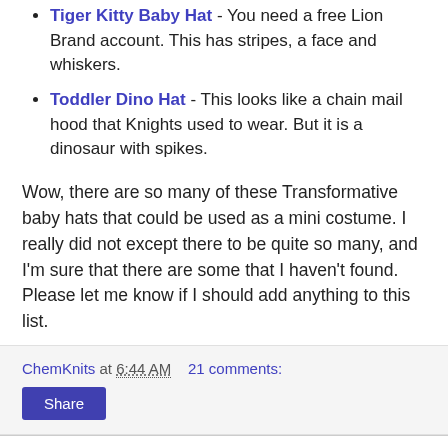Tiger Kitty Baby Hat - You need a free Lion Brand account. This has stripes, a face and whiskers.
Toddler Dino Hat - This looks like a chain mail hood that Knights used to wear. But it is a dinosaur with spikes.
Wow, there are so many of these Transformative baby hats that could be used as a mini costume. I really did not except there to be quite so many, and I'm sure that there are some that I haven't found. Please let me know if I should add anything to this list.
ChemKnits at 6:44 AM   21 comments:
Share
Thursday, April 22, 2010
Knit Green for Earth Day
Today, April 22, is Earth Day. In honor of the day designed to